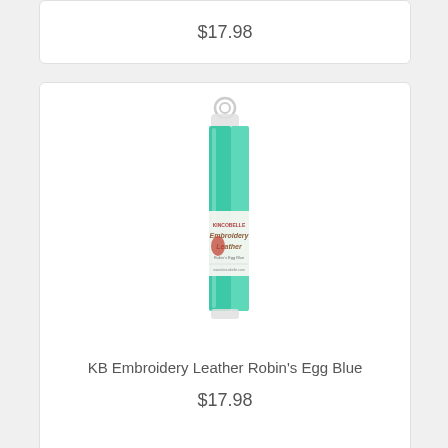$17.98
[Figure (photo): A roll of teal/robin's egg blue embroidery leather in a clear plastic cylindrical tube container with a label]
KB Embroidery Leather Robin's Egg Blue
$17.98
[Figure (photo): Partial view of another product in a clear plastic cylindrical container on a gray background]